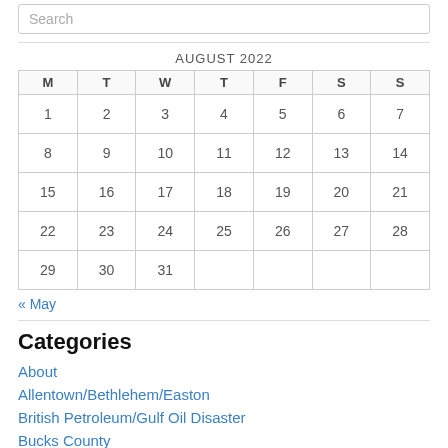Search
| M | T | W | T | F | S | S |
| --- | --- | --- | --- | --- | --- | --- |
| 1 | 2 | 3 | 4 | 5 | 6 | 7 |
| 8 | 9 | 10 | 11 | 12 | 13 | 14 |
| 15 | 16 | 17 | 18 | 19 | 20 | 21 |
| 22 | 23 | 24 | 25 | 26 | 27 | 28 |
| 29 | 30 | 31 |  |  |  |  |
« May
Categories
About
Allentown/Bethlehem/Easton
British Petroleum/Gulf Oil Disaster
Bucks County